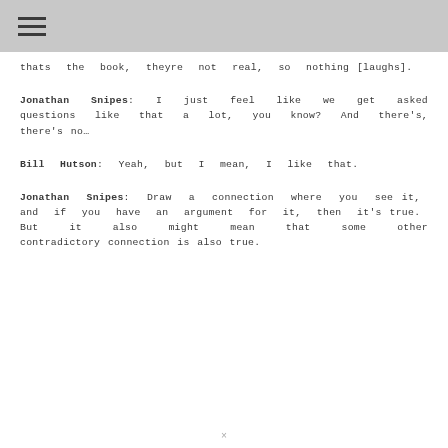≡
thats the book, theyre not real, so nothing [laughs].
Jonathan Snipes: I just feel like we get asked questions like that a lot, you know? And there's, there's no…
Bill Hutson: Yeah, but I mean, I like that.
Jonathan Snipes: Draw a connection where you see it, and if you have an argument for it, then it's true. But it also might mean that some other contradictory connection is also true.
×